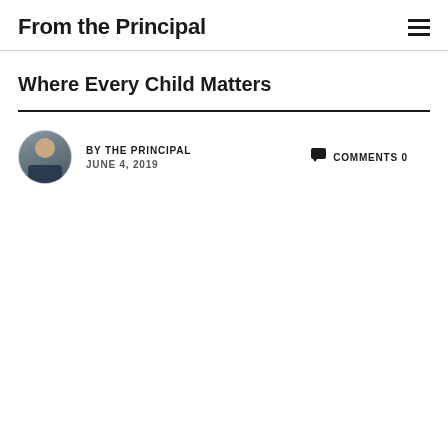From the Principal
Where Every Child Matters
BY THE PRINCIPAL  JUNE 4, 2019  COMMENTS 0